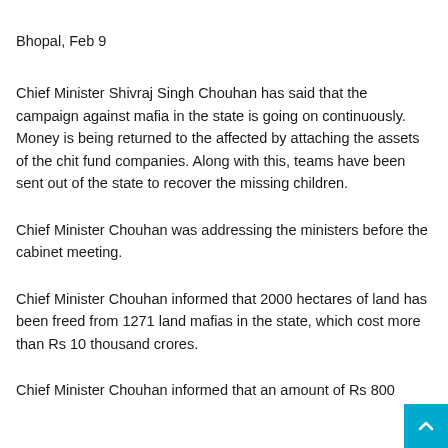Bhopal, Feb 9
Chief Minister Shivraj Singh Chouhan has said that the campaign against mafia in the state is going on continuously. Money is being returned to the affected by attaching the assets of the chit fund companies. Along with this, teams have been sent out of the state to recover the missing children.
Chief Minister Chouhan was addressing the ministers before the cabinet meeting.
Chief Minister Chouhan informed that 2000 hectares of land has been freed from 1271 land mafias in the state, which cost more than Rs 10 thousand crores.
Chief Minister Chouhan informed that an amount of Rs 800